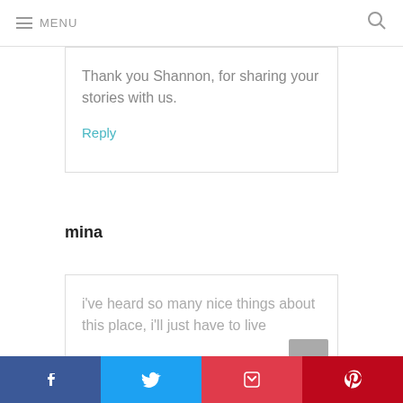MENU
Thank you Shannon, for sharing your stories with us.
Reply
mina
i've heard so many nice things about this place, i'll just have to live